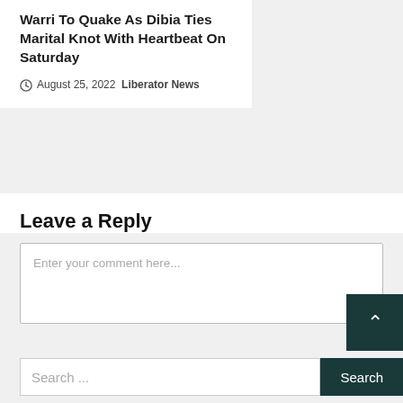Warri To Quake As Dibia Ties Marital Knot With Heartbeat On Saturday
August 25, 2022  Liberator News
Leave a Reply
Enter your comment here...
Search ...